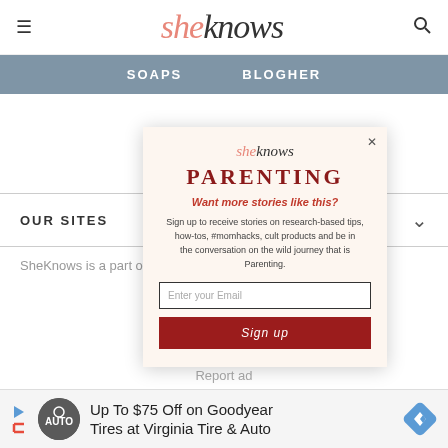sheknows — SOAPS  BLOGHER
OUR SITES
SheKnows is a part of  Media, LLC. All Rights
[Figure (screenshot): SheKnows Parenting newsletter modal popup with email sign-up form]
Report ad
Up To $75 Off on Goodyear Tires at Virginia Tire & Auto